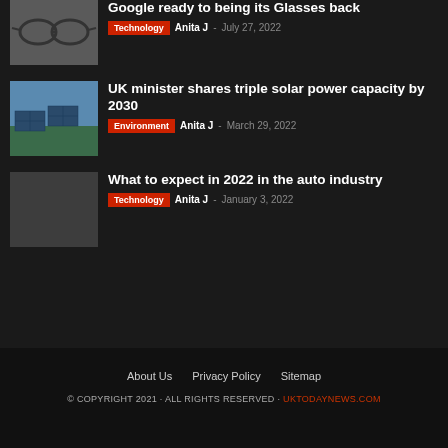Google ready to being its Glasses back
Technology  Anita J  -  July 27, 2022
[Figure (photo): Google Glass eyewear photo on dark background]
UK minister shares triple solar power capacity by 2030
Environment  Anita J  -  March 29, 2022
[Figure (photo): Solar panels on a rooftop with sky background]
What to expect in 2022 in the auto industry
Technology  Anita J  -  January 3, 2022
[Figure (photo): Auto industry placeholder image on dark background]
About Us  Privacy Policy  Sitemap
© COPYRIGHT 2021 · ALL RIGHTS RESERVED · UKTODAYNEWS.COM